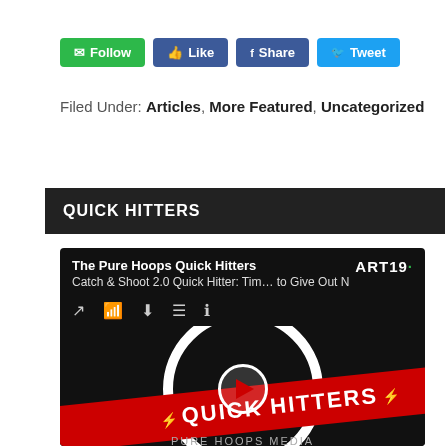[Figure (screenshot): Social media buttons: Follow (green), Like (blue), Share (blue), Tweet (light blue)]
Filed Under: Articles, More Featured, Uncategorized
QUICK HITTERS
[Figure (screenshot): Podcast widget for The Pure Hoops Quick Hitters on ART19. Shows episode 'Catch & Shoot 2.0 Quick Hitter: Time to Give Out N' with playback controls and Quick Hitters logo with red banner.]